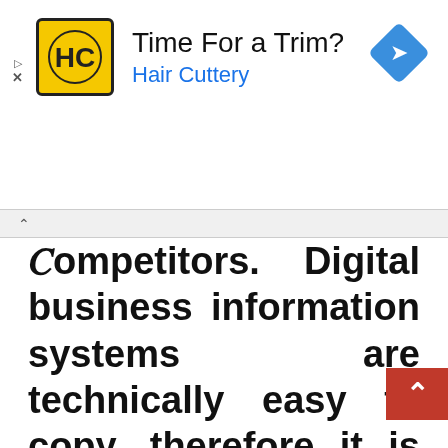[Figure (infographic): Advertisement banner for Hair Cuttery showing logo, tagline 'Time For a Trim?', and navigation icon]
competitors. Digital business information systems are technically easy to copy, therefore it is necessary to prepare a layered protection system so that digital business applications that are built are not easily duplicated